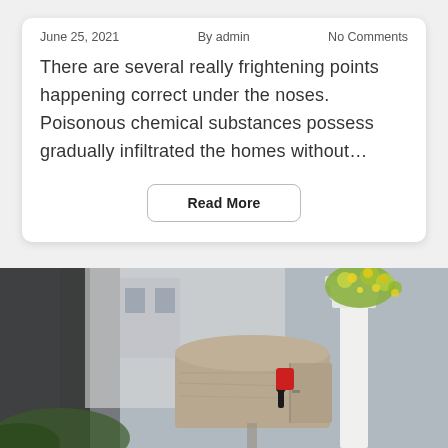June 25, 2021     By admin     No Comments
There are several really frightening points happening correct under the noses. Poisonous chemical substances possess gradually infiltrated the homes without…
Read More
[Figure (photo): A mailbox with a red flag raised, mounted near a white fence post with yellow flowers, blurred suburban background]